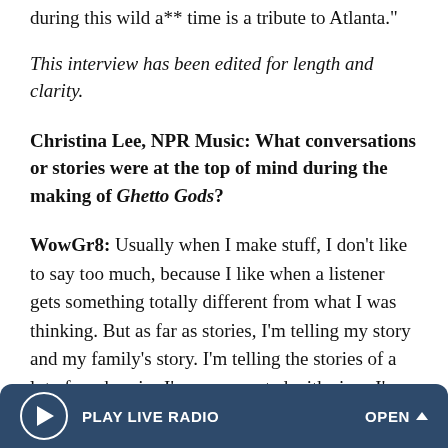during this wild a** time is a tribute to Atlanta."
This interview has been edited for length and clarity.
Christina Lee, NPR Music: What conversations or stories were at the top of mind during the making of Ghetto Gods?
WowGr8: Usually when I make stuff, I don't like to say too much, because I like when a listener gets something totally different from what I was thinking. But as far as stories, I'm telling my story and my family's story. I'm telling the stories of a lot of my homies I've reconnected with since I've been back home and honestly, more folks from my childhood than ever, from even the past two years. Everybody ain't here the
PLAY LIVE RADIO  OPEN